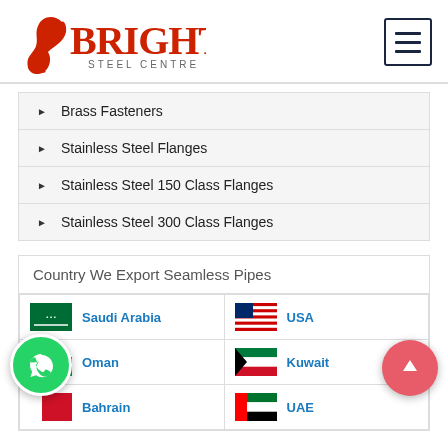[Figure (logo): Bright Steel Centre logo with red flame and text]
Brass Fasteners
Stainless Steel Flanges
Stainless Steel 150 Class Flanges
Stainless Steel 300 Class Flanges
| Country We Export Seamless Pipes |
| --- |
| Saudi Arabia | USA |
| Oman | Kuwait |
| Bahrain | UAE |